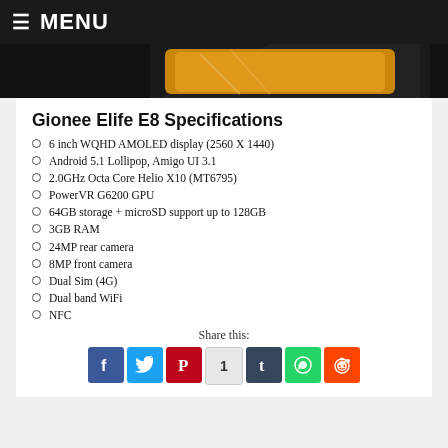MENU
[Figure (photo): Partial view of Gionee Elife E8 smartphone]
Gionee Elife E8 Specifications
6 inch WQHD AMOLED display (2560 X 1440)
Android 5.1 Lollipop, Amigo UI 3.1
2.0GHz Octa Core Helio X10 (MT6795)
PowerVR G6200 GPU
64GB storage + microSD support up to 128GB
3GB RAM
24MP rear camera
8MP front camera
Dual Sim (4G)
Dual band WiFi
NFC
Share this: